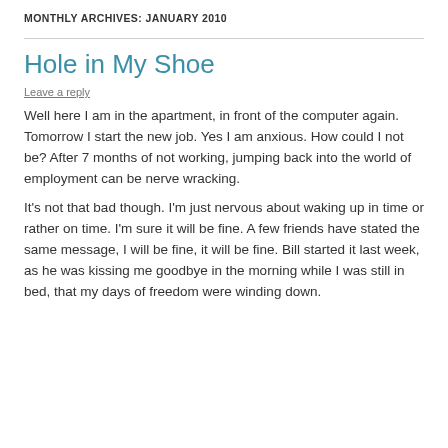MONTHLY ARCHIVES: JANUARY 2010
Hole in My Shoe
Leave a reply
Well here I am in the apartment, in front of the computer again. Tomorrow I start the new job. Yes I am anxious. How could I not be? After 7 months of not working, jumping back into the world of employment can be nerve wracking.
It’s not that bad though. I’m just nervous about waking up in time or rather on time. I’m sure it will be fine. A few friends have stated the same message, I will be fine, it will be fine. Bill started it last week, as he was kissing me goodbye in the morning while I was still in bed, that my days of freedom were winding down.